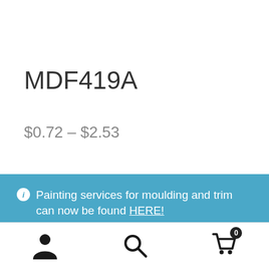MDF419A
$0.72 – $2.53
Painting services for moulding and trim can now be found HERE! Dismiss